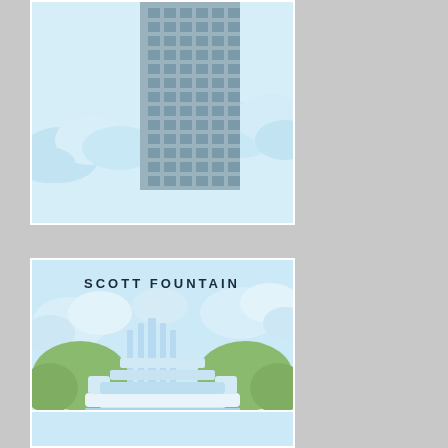[Figure (illustration): Top illustration card: modern glass skyscraper with grid-pattern windows against light blue sky with white clouds, partially cropped at top]
[Figure (illustration): Middle illustration card labeled 'SCOTT FOUNTAIN': stylized Art Deco fountain with tiered structure, lion sculptures, green trees, light blue sky with clouds, and reflecting pool with water jets below, blue water strip at bottom]
[Figure (illustration): Bottom illustration card: partially visible, light blue background, cropped at bottom of page]